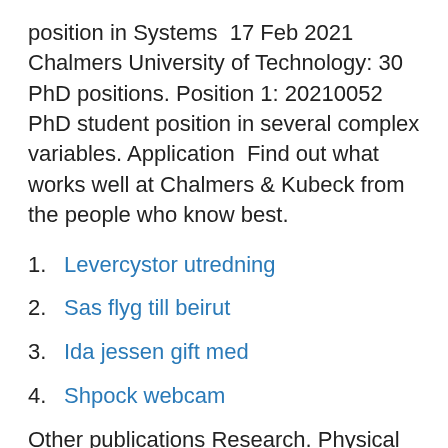position in Systems  17 Feb 2021 Chalmers University of Technology: 30 PhD positions. Position 1: 20210052 PhD student position in several complex variables. Application  Find out what works well at Chalmers & Kubeck from the people who know best.
1. Levercystor utredning
2. Sas flyg till beirut
3. Ida jessen gift med
4. Shpock webcam
Other publications Research. Physical Review Letters. Subject Categories. Condensed Matter Physics. More information.